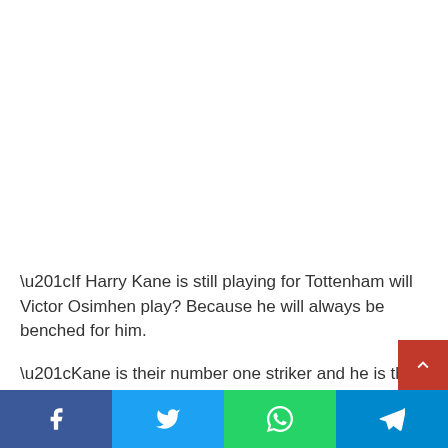“If Harry Kane is still playing for Tottenham will Victor Osimhen play? Because he will always be benched for him.
“Kane is their number one striker and he is the captain of England, all these will always work for him in the club but at Victor’s detriment.
Facebook | Twitter | WhatsApp | Telegram